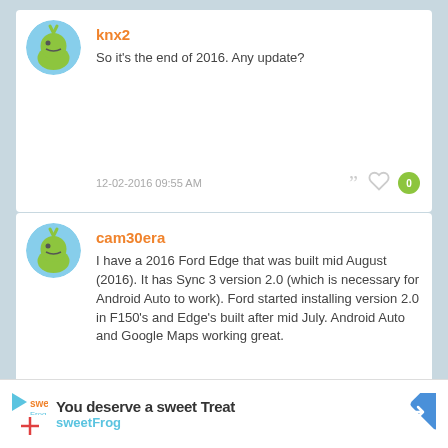knx2
So it's the end of 2016. Any update?
12-02-2016 09:55 AM
cam30era
I have a 2016 Ford Edge that was built mid August (2016). It has Sync 3 version 2.0 (which is necessary for Android Auto to work). Ford started installing version 2.0 in F150's and Edge's built after mid July. Android Auto and Google Maps working great.
12-02-2016 11:35 AM
[Figure (infographic): Ad banner for sweetFrog with logo and diamond arrow icon]